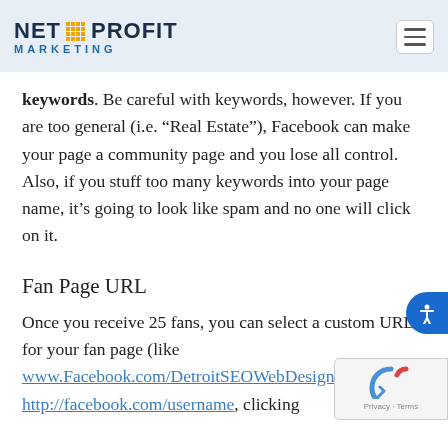Net Profit Marketing
keywords. Be careful with keywords, however. If you are too general (i.e. “Real Estate”), Facebook can make your page a community page and you lose all control. Also, if you stuff too many keywords into your page name, it’s going to look like spam and no one will click on it.
Fan Page URL
Once you receive 25 fans, you can select a custom URL for your fan page (like www.Facebook.com/DetroitSEOWebDesign) by going to http://facebook.com/username, clicking